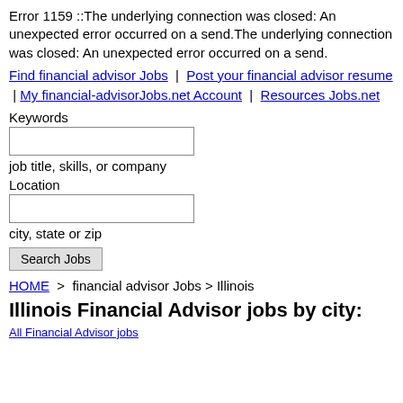Error 1159 ::The underlying connection was closed: An unexpected error occurred on a send.The underlying connection was closed: An unexpected error occurred on a send.
Find financial advisor Jobs | Post your financial advisor resume | My financial-advisorJobs.net Account | Resources Jobs.net
Keywords
job title, skills, or company
Location
city, state or zip
Search Jobs
HOME > financial advisor Jobs > Illinois
Illinois Financial Advisor jobs by city:
All Financial Advisor jobs